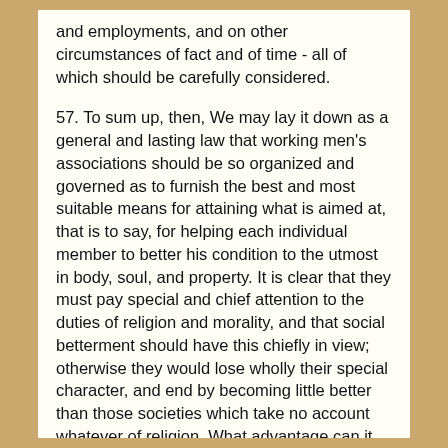and employments, and on other circumstances of fact and of time - all of which should be carefully considered.
57. To sum up, then, We may lay it down as a general and lasting law that working men's associations should be so organized and governed as to furnish the best and most suitable means for attaining what is aimed at, that is to say, for helping each individual member to better his condition to the utmost in body, soul, and property. It is clear that they must pay special and chief attention to the duties of religion and morality, and that social betterment should have this chiefly in view; otherwise they would lose wholly their special character, and end by becoming little better than those societies which take no account whatever of religion. What advantage can it be to a working man to obtain by means of a society material well-being, if he endangers his soul for lack of spiritual food? "What doth it profit a man, if he gain the whole world and